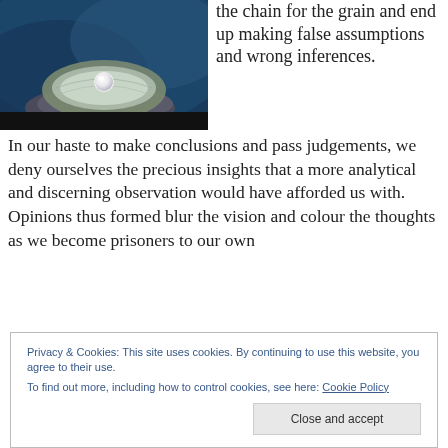[Figure (photo): An open oyster shell with a white pearl inside, resting on rocks underwater with a blue-teal background.]
the chain for the grain and end up making false assumptions and wrong inferences. In our haste to make conclusions and pass judgements, we deny ourselves the precious insights that a more analytical and discerning observation would have afforded us with.  Opinions thus formed blur the vision and colour the thoughts as we become prisoners to our own
Privacy & Cookies: This site uses cookies. By continuing to use this website, you agree to their use.
To find out more, including how to control cookies, see here: Cookie Policy
Close and accept